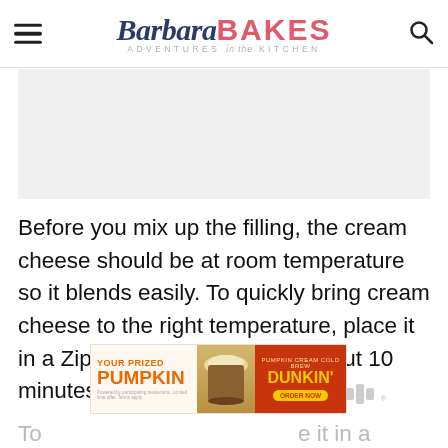Barbara BAKES — ADVENTURES in the KITCHEN
[Figure (photo): Partial view of a food photograph (light gray placeholder area), likely showing a baked dessert related to the article content.]
Before you mix up the filling, the cream cheese should be at room temperature so it blends easily. To quickly bring cream cheese to the right temperature, place it in a Ziploc in warm water for about 10 minutes.
[Figure (other): Advertisement banner: YOUR PRIZED PUMPKIN — Pumpkin Cream Cold Brew — DUNKIN' ORDER NOW]
To … e it in a